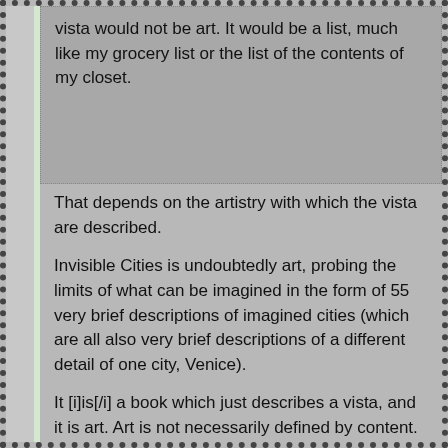vista would not be art. It would be a list, much like my grocery list or the list of the contents of my closet.
That depends on the artistry with which the vista are described.
Invisible Cities is undoubtedly art, probing the limits of what can be imagined in the form of 55 very brief descriptions of imagined cities (which are all also very brief descriptions of a different detail of one city, Venice).
It [i]is[/i] a book which just describes a vista, and it is art. Art is not necessarily defined by content.
Reply